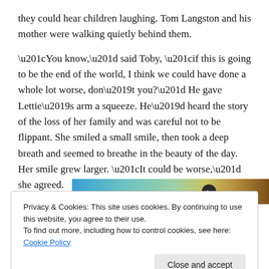they could hear children laughing. Tom Langston and his mother were walking quietly behind them.
“You know,” said Toby, “if this is going to be the end of the world, I think we could have done a whole lot worse, don’t you?” He gave Lettie’s arm a squeeze. He’d heard the story of the loss of her family and was careful not to be flippant. She smiled a small smile, then took a deep breath and seemed to breathe in the beauty of the day. Her smile grew larger. “It could be worse,” she agreed.
[Figure (photo): Partial image strip showing a gradient from blue to teal to green to yellow-gold with a small dark circular badge labeled Aa in the center]
Privacy & Cookies: This site uses cookies. By continuing to use this website, you agree to their use.
To find out more, including how to control cookies, see here: Cookie Policy